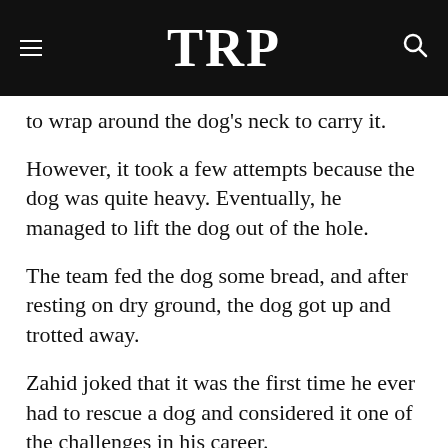TRP
to wrap around the dog's neck to carry it.
However, it took a few attempts because the dog was quite heavy. Eventually, he managed to lift the dog out of the hole.
The team fed the dog some bread, and after resting on dry ground, the dog got up and trotted away.
Zahid joked that it was the first time he ever had to rescue a dog and considered it one of the challenges in his career.
Share your thoughts with us via TRP's Facebook, Twitter, and Instagram.